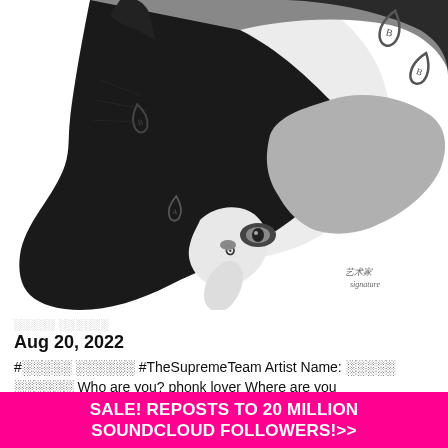[Figure (illustration): Black and white pencil/ink drawing of a cat's face viewed from below/front angle, with decorative teardrop and letter-like markings on its fur. The cat appears to be looking downward with one eye visible. An artist signature appears in the lower right of the drawing area.]
░░░░░ ░░░░░░
Aug 20, 2022
#░░░░░ ░░░░░░ #TheSupremeTeam Artist Name: ░░░░░ ░░░░░░ Who are you? phonk lover Where are you
SALE! REPOSTS TO 20 MILLION SOUNDCLOUD FOLLOWERS!>>